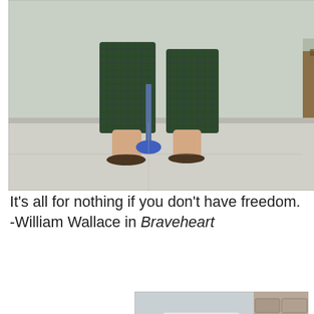[Figure (photo): Person from waist down wearing plaid/tartan shorts and flip flops, standing on a sidewalk/driveway, holding a blue plunger. Outdoor setting with mulched garden bed visible.]
It's all for nothing if you don't have freedom.
-William Wallace in Braveheart
[Figure (photo): Person in Braveheart / William Wallace Halloween costume: long black wig, half blue face paint, medieval warrior outfit with plaid vest, holding a sword aloft, standing in front of a house numbered 5297.]